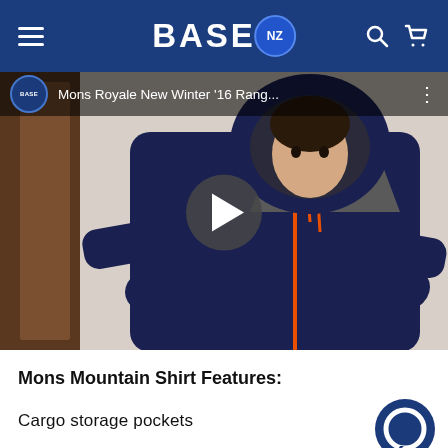BASE NZ navigation header with hamburger menu, BASE NZ logo, search and cart icons
[Figure (screenshot): YouTube-style video thumbnail showing a man wearing a navy blue and grey hoodie zip-up with orange zipper, with video title 'Mons Royale New Winter '16 Rang...' and a play button overlay]
Mons Mountain Shirt Features:
Cargo storage pockets
...